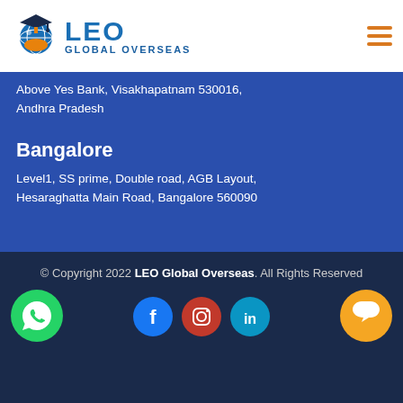[Figure (logo): LEO Global Overseas logo with globe and graduation cap icon]
Above Yes Bank, Visakhapatnam 530016, Andhra Pradesh
Bangalore
Level1, SS prime, Double road, AGB Layout, Hesaraghatta Main Road, Bangalore 560090
© Copyright 2022 LEO Global Overseas. All Rights Reserved